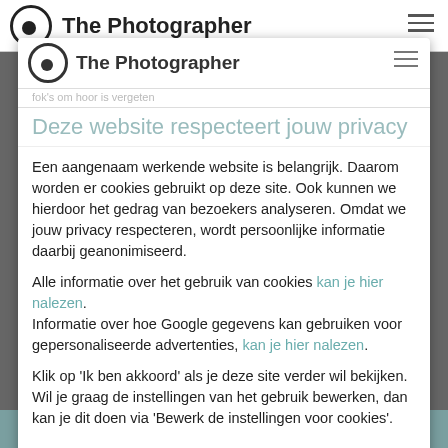The Photographer
Deze website respecteert jouw privacy
Een aangenaam werkende website is belangrijk. Daarom worden er cookies gebruikt op deze site. Ook kunnen we hierdoor het gedrag van bezoekers analyseren. Omdat we jouw privacy respecteren, wordt persoonlijke informatie daarbij geanonimiseerd.
Alle informatie over het gebruik van cookies kan je hier nalezen. Informatie over hoe Google gegevens kan gebruiken voor gepersonaliseerde advertenties, kan je hier nalezen.
Klik op 'Ik ben akkoord' als je deze site verder wil bekijken. Wil je graag de instellingen van het gebruik bewerken, dan kan je dit doen via 'Bewerk de instellingen voor cookies'.
Contacteer mij